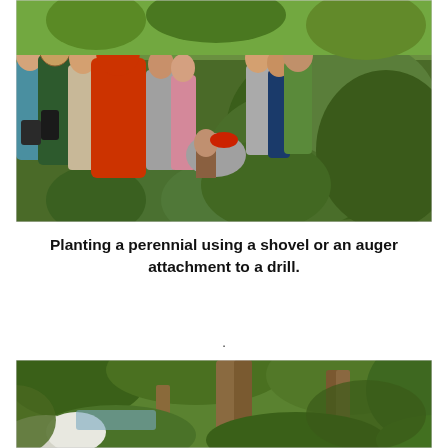[Figure (photo): A group of people gathered outdoors around a large patch of broad-leafed plants (Japanese knotweed), observing someone crouching down among the vegetation. The setting is a lush green garden or park.]
Planting a perennial using a shovel or an auger attachment to a drill.
.
[Figure (photo): A wooded garden or park scene showing tall trees with large trunks, lush green foliage, and flowering shrubs in the foreground.]